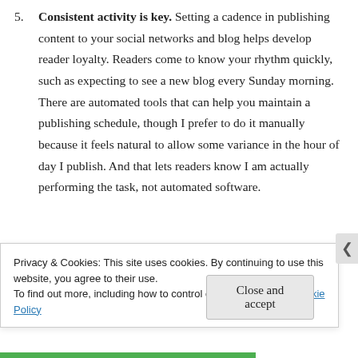5. Consistent activity is key. Setting a cadence in publishing content to your social networks and blog helps develop reader loyalty. Readers come to know your rhythm quickly, such as expecting to see a new blog every Sunday morning. There are automated tools that can help you maintain a publishing schedule, though I prefer to do it manually because it feels natural to allow some variance in the hour of day I publish. And that lets readers know I am actually performing the task, not automated software.
Privacy & Cookies: This site uses cookies. By continuing to use this website, you agree to their use.
To find out more, including how to control cookies, see here: Cookie Policy